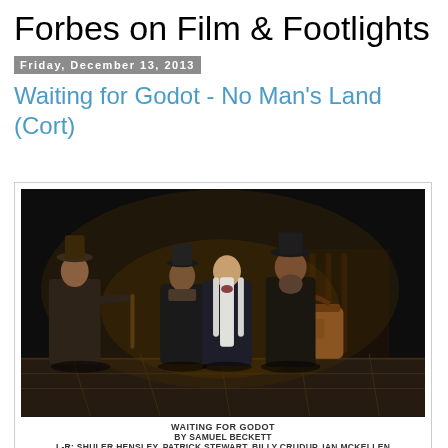Forbes on Film & Footlights
Friday, December 13, 2013
Waiting for Godot - No Man's Land (Cort)
[Figure (photo): Theater production photo of Waiting for Godot showing four actors on stage, dressed in dark worn costumes, with dramatic lighting against a dark background.]
WAITING FOR GODOT
BY SAMUEL BECKETT
L-R: SHULER HENSLEY, PATRICK STEWART, BILLY CRUDUP, IAN McKELLEN